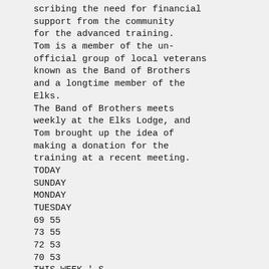scribing the need for financial support from the community for the advanced training. Tom is a member of the un-official group of local veterans known as the Band of Brothers and a longtime member of the Elks. The Band of Brothers meets weekly at the Elks Lodge, and Tom brought up the idea of making a donation for the training at a recent meeting.
TODAY
SUNDAY
MONDAY
TUESDAY
69 55
73 55
72 53
70 53
THIS WEEK ' S
WEATHER
Full Forecast, A3